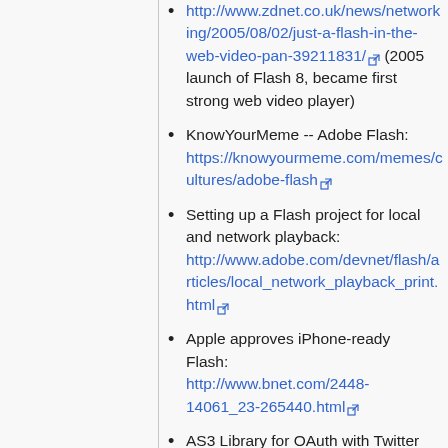http://www.zdnet.co.uk/news/networking/2005/08/02/just-a-flash-in-the-web-video-pan-39211831/ (2005 launch of Flash 8, became first strong web video player)
KnowYourMeme -- Adobe Flash: https://knowyourmeme.com/memes/cultures/adobe-flash
Setting up a Flash project for local and network playback: http://www.adobe.com/devnet/flash/articles/local_network_playback_print.html
Apple approves iPhone-ready Flash: http://www.bnet.com/2448-14061_23-265440.html
AS3 Library for OAuth with Twitter for AIR Apps: http://drawlogic.com/2009/07/08/as3-library-for-oauth-with-twitter-for-air-